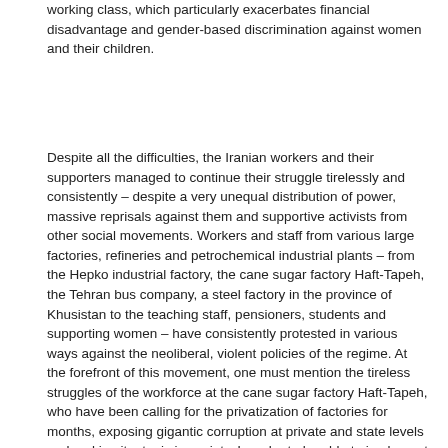working class, which particularly exacerbates financial disadvantage and gender-based discrimination against women and their children.
Despite all the difficulties, the Iranian workers and their supporters managed to continue their struggle tirelessly and consistently – despite a very unequal distribution of power, massive reprisals against them and supportive activists from other social movements. Workers and staff from various large factories, refineries and petrochemical industrial plants – from the Hepko industrial factory, the cane sugar factory Haft-Tapeh, the Tehran bus company, a steel factory in the province of Khusistan to the teaching staff, pensioners, students and supporting women – have consistently protested in various ways against the neoliberal, violent policies of the regime. At the forefront of this movement, one must mention the tireless struggles of the workforce at the cane sugar factory Haft-Tapeh, who have been calling for the privatization of factories for months, exposing gigantic corruption at private and state levels and making it a topic in society. In order to be able to implement their demands, they have spoken out in favor of a decision-making body for workers and council administrations through the workforce in factories. These efforts are supported